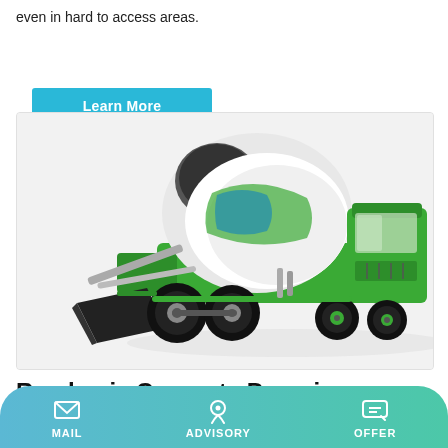even in hard to access areas.
Learn More
[Figure (photo): A green self-loading concrete mixer truck with a large rotating drum and front loading bucket, shown on a light gray background]
Readymix Concrete Pumping London, Middlesex & Home
MAIL   ADVISORY   OFFER